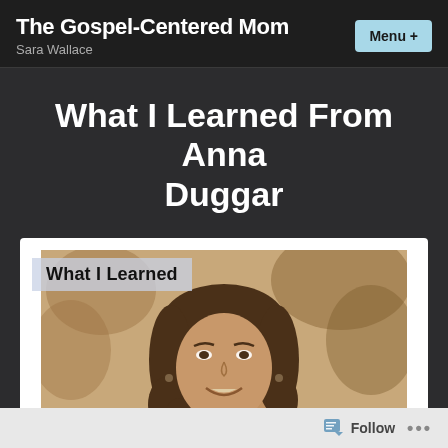The Gospel-Centered Mom | Sara Wallace | Menu +
What I Learned From Anna Duggar
[Figure (photo): Blog post thumbnail image showing a smiling woman with curly dark hair in a sepia-toned portrait photo, with overlay text 'What I Learned']
Follow ...